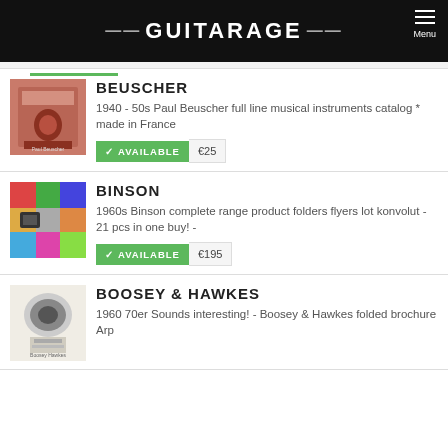GUITARAGE — Menu
BEUSCHER
1940 - 50s Paul Beuscher full line musical instruments catalog * made in France
✓ AVAILABLE  €25
BINSON
1960s Binson complete range product folders flyers lot konvolut - 21 pcs in one buy! -
✓ AVAILABLE  €195
BOOSEY & HAWKES
1960 70er Sounds interesting! - Boosey & Hawkes folded brochure Arp